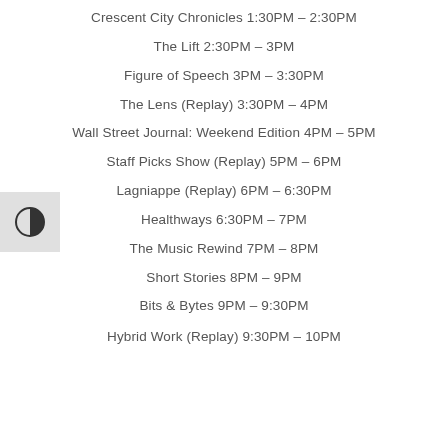Crescent City Chronicles 1:30PM – 2:30PM
The Lift 2:30PM – 3PM
Figure of Speech 3PM – 3:30PM
The Lens (Replay) 3:30PM – 4PM
Wall Street Journal: Weekend Edition 4PM – 5PM
Staff Picks Show (Replay) 5PM – 6PM
Lagniappe (Replay) 6PM – 6:30PM
Healthways 6:30PM – 7PM
The Music Rewind 7PM – 8PM
Short Stories 8PM – 9PM
Bits & Bytes 9PM – 9:30PM
Hybrid Work (Replay) 9:30PM – 10PM